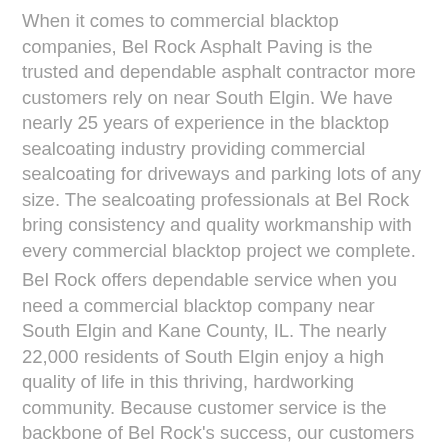When it comes to commercial blacktop companies, Bel Rock Asphalt Paving is the trusted and dependable asphalt contractor more customers rely on near South Elgin. We have nearly 25 years of experience in the blacktop sealcoating industry providing commercial sealcoating for driveways and parking lots of any size. The sealcoating professionals at Bel Rock bring consistency and quality workmanship with every commercial blacktop project we complete.
Bel Rock offers dependable service when you need a commercial blacktop company near South Elgin and Kane County, IL. The nearly 22,000 residents of South Elgin enjoy a high quality of life in this thriving, hardworking community. Because customer service is the backbone of Bel Rock's success, our customers expect and receive excellence when choosing us as their commercial blacktop company. To schedule a free consultation, call Bel Rock today!
A proud member of the South Elgin community, Bel Rock